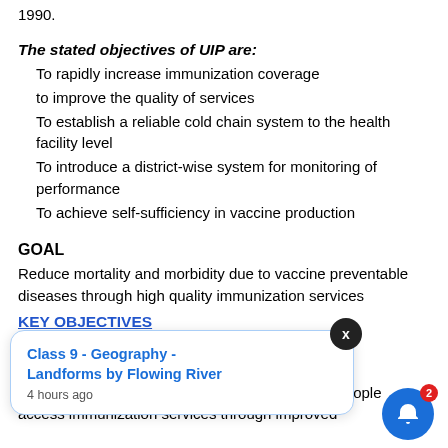1990.
The stated objectives of UIP are:
To rapidly increase immunization coverage
to improve the quality of services
To establish a reliable cold chain system to the health facility level
To introduce a district-wise system for monitoring of performance
To achieve self-sufficiency in vaccine production
GOAL
Reduce mortality and morbidity due to vaccine preventable diseases through high quality immunization services
equitable and s
KO 2. increase demand and reduce barriers for people access immunization services through improved